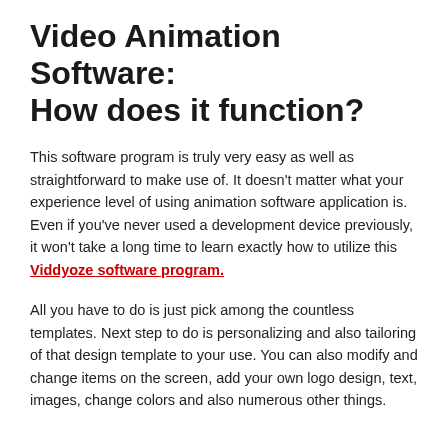Video Animation Software: How does it function?
This software program is truly very easy as well as straightforward to make use of. It doesn't matter what your experience level of using animation software application is. Even if you've never used a development device previously, it won't take a long time to learn exactly how to utilize this Viddyoze software program.
All you have to do is just pick among the countless templates. Next step to do is personalizing and also tailoring of that design template to your use. You can also modify and change items on the screen, add your own logo design, text, images, change colors and also numerous other things.